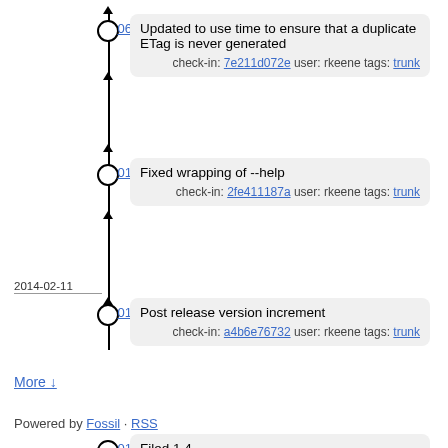06:11 — Updated to use time to ensure that a duplicate ETag is never generated
check-in: 7e211d072e user: rkeene tags: trunk
01:40 — Fixed wrapping of --help
check-in: 2fe411187a user: rkeene tags: trunk
01:35 — Post release version increment
check-in: a4b6e76732 user: rkeene tags: trunk
01:35 — Filed 1.4
check-in: 54ff5cc0ff user: rkeene tags: trunk, 1.4
2014-02-11
16:55 — Added note about log files
check-in: d6e6e6e9c7 user: rkeene tags: trunk
More ↓
Powered by Fossil · RSS